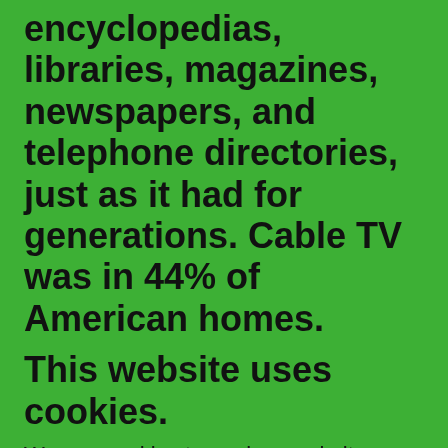encyclopedias, libraries, magazines, newspapers, and telephone directories, just as it had for generations. Cable TV was in 44% of American homes.
This website uses cookies.
We use cookies to analyze website traffic and optimize your website experience. By accepting our use of cookies, your data will be aggregated with all other user data.
ACCEPT